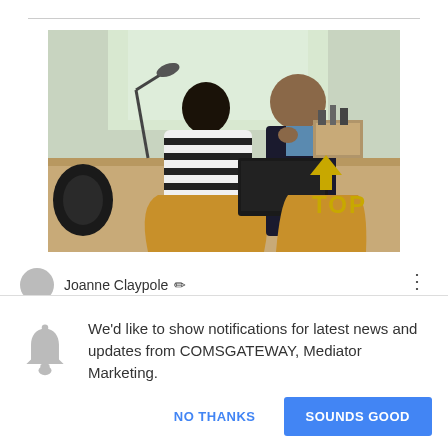[Figure (photo): Two people sitting across from each other at a desk in an office. One person faces away in a striped shirt. The other wears a dark jacket. A laptop is open on the desk. Yellow wooden chairs visible. A 'TOP' label with upward arrow overlaid on the bottom right of the image.]
Joanne Claypole ✏
We'd like to show notifications for latest news and updates from COMSGATEWAY, Mediator Marketing.
NO THANKS
SOUNDS GOOD